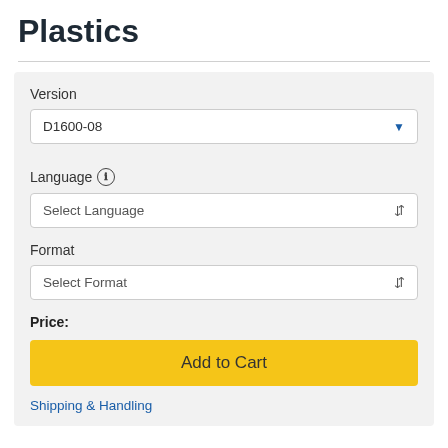Plastics
Version
D1600-08
Language
Select Language
Format
Select Format
Price:
Add to Cart
Shipping & Handling